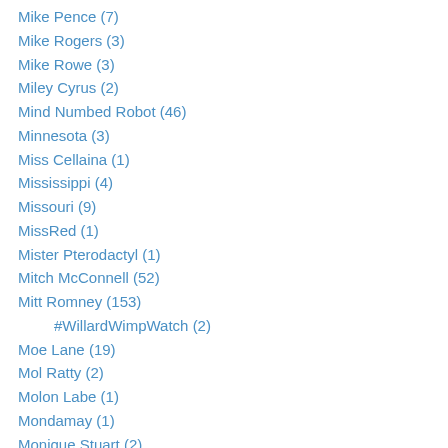Mike Pence (7)
Mike Rogers (3)
Mike Rowe (3)
Miley Cyrus (2)
Mind Numbed Robot (46)
Minnesota (3)
Miss Cellaina (1)
Mississippi (4)
Missouri (9)
MissRed (1)
Mister Pterodactyl (1)
Mitch McConnell (52)
Mitt Romney (153)
#WillardWimpWatch (2)
Moe Lane (19)
Mol Ratty (2)
Molon Labe (1)
Mondamay (1)
Monique Stuart (2)
Montana (1)